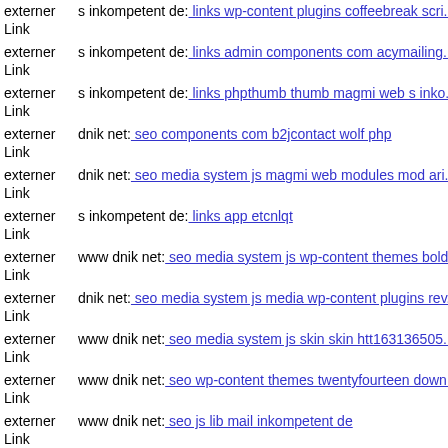externer Link s inkompetent de: links wp-content plugins coffeebreak scri...
externer Link s inkompetent de: links admin components com acymailing...
externer Link s inkompetent de: links phpthumb thumb magmi web s inko...
externer Link dnik net: seo components com b2jcontact wolf php
externer Link dnik net: seo media system js magmi web modules mod ari...
externer Link s inkompetent de: links app etcnlqt
externer Link www dnik net: seo media system js wp-content themes bold...
externer Link dnik net: seo media system js media wp-content plugins rev...
externer Link www dnik net: seo media system js skin skin htt163136505...
externer Link www dnik net: seo wp-content themes twentyfourteen down...
externer Link www dnik net: seo js lib mail inkompetent de
externer Link ...